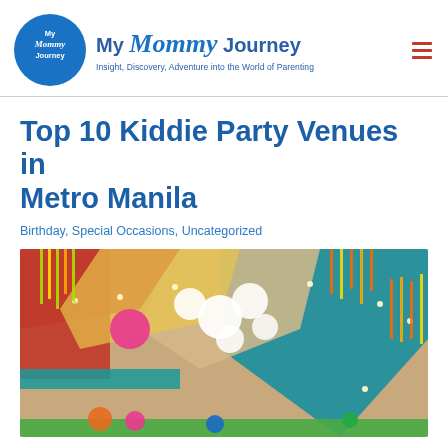My Mommy Journey — Insight, Discovery, Adventure into the World of Parenting
Top 10 Kiddie Party Venues in Metro Manila
Birthday, Special Occasions, Uncategorized
[Figure (photo): Colorful party venue interior with hanging paper lanterns, streamers, and fabric draping in bright colors (red, teal, orange, yellow, green, pink) from the ceiling, with string lights.]